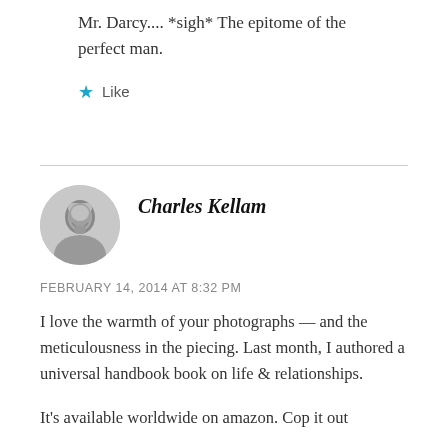Mr. Darcy.... *sigh* The epitome of the perfect man.
★ Like
Charles Kellam
FEBRUARY 14, 2014 AT 8:32 PM
I love the warmth of your photographs — and the meticulousness in the piecing. Last month, I authored a universal handbook book on life & relationships.
It's available worldwide on amazon. Cop it out and share the read across with everyone you know.